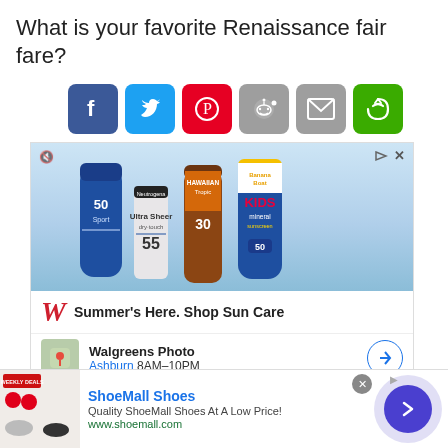What is your favorite Renaissance fair fare?
[Figure (infographic): Social sharing buttons: Facebook (blue), Twitter (cyan), Pinterest (red), Reddit (gray), Email (gray), More (green)]
[Figure (photo): Walgreens advertisement showing sunscreen products: Walgreens Sport SPF 50, Neutrogena Ultra Sheer Dry-Touch SPF 55, Hawaiian Tropic Sheer Touch SPF 30, Banana Boat Kids Mineral SPF 50. Tagline: Summer's Here. Shop Sun Care. Walgreens Photo Ashburn 8AM-10PM.]
[Figure (infographic): ShoeMall Shoes advertisement: Quality ShoeMall Shoes At A Low Price! www.shoemall.com. Shows weekly deals imagery and shoe photos.]